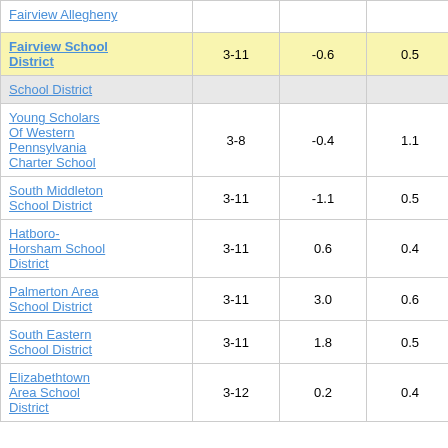| District/School | Grades | Col3 | Col4 | Score |
| --- | --- | --- | --- | --- |
| Fairview School District | 3-11 | -0.6 | 0.5 | -1.14 |
| School District |  |  |  |  |
| Young Scholars Of Western Pennsylvania Charter School | 3-8 | -0.4 | 1.1 | -0.37 |
| South Middleton School District | 3-11 | -1.1 | 0.5 | -2.15 |
| Hatboro-Horsham School District | 3-11 | 0.6 | 0.4 | 1.72 |
| Palmerton Area School District | 3-11 | 3.0 | 0.6 | 5.04 |
| South Eastern School District | 3-11 | 1.8 | 0.5 | 3.93 |
| Elizabethtown Area School District | 3-12 | 0.2 | 0.4 | 0.58 |